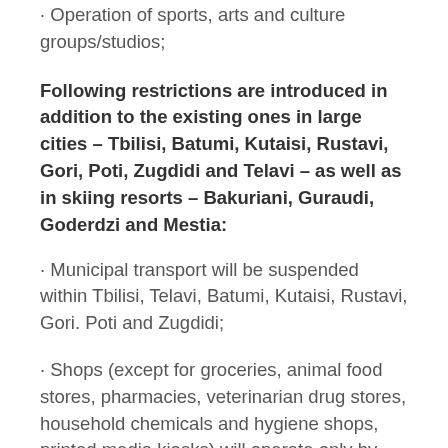· Operation of sports, arts and culture groups/studios;
Following restrictions are introduced in addition to the existing ones in large cities – Tbilisi, Batumi, Kutaisi, Rustavi, Gori, Poti, Zugdidi and Telavi – as well as in skiing resorts – Bakuriani, Guraudi, Goderdzi and Mestia:
· Municipal transport will be suspended within Tbilisi, Telavi, Batumi, Kutaisi, Rustavi, Gori. Poti and Zugdidi;
· Shops (except for groceries, animal food stores, pharmacies, veterinarian drug stores, household chemicals and hygiene shops, printed media kiosks) will operate only by distance service delivery;
· Open and closed fairs and markets will suspend operation. Fruit and vegetable markets will continue to operate;